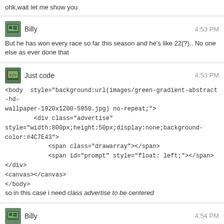ohk,wait let me show you
Billy 4:53 PM
But he has won every race so far this season and he's like 22(?).. No one else as ever done that
Just code 4:53 PM
<body style="background:url(images/green-gradient-abstract-hd-wallpaper-1920x1200-5950.jpg) no-repeat;">
        <div class="advertise" style="width:800px;height:50px;display:none;background-color:#4C7E43">
            <span class="drawarray"></span>
            <span id="prompt" style="float: left;"></span></div>
<canvas></canvas>
</body>
so in this case i need class advertise to be centered
Billy 4:54 PM
@Wesabi Why? It makes perfect sense to me :P
Zach Saucier 4:54 PM
@Justcode so full page then?
set width?
user652649 4:54 PM
it would make sense if it was math! :D
Just code 4:55 PM
yes i set width to 100% to body for a div 800px